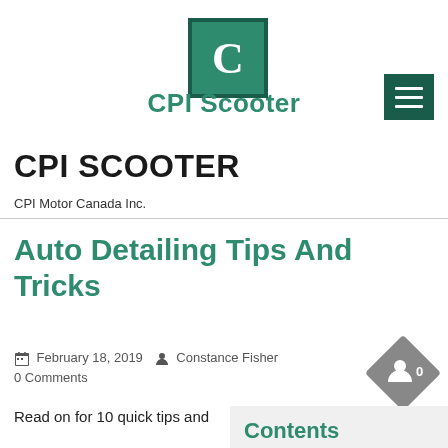[Figure (logo): CPI Scooter logo: green square with white letter C, with darker green border]
CPI Scooter
CPI SCOOTER
CPI Motor Canada Inc.
Auto Detailing Tips And Tricks
February 18, 2019  Constance Fisher  0 Comments
Read on for 10 quick tips and
Contents